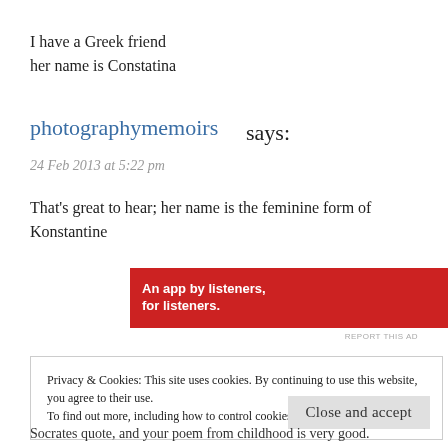I have a Greek friend
her name is Constatina
photographymemoirs says:
24 Feb 2013 at 5:22 pm
That's great to hear; her name is the feminine form of Konstantine
[Figure (other): Pocket Casts advertisement banner: red background with bold white text 'An app by listeners, for listeners.' and Pocket Casts logo on the right]
REPORT THIS AD
Privacy & Cookies: This site uses cookies. By continuing to use this website, you agree to their use.
To find out more, including how to control cookies, see here: Cookie Policy
Close and accept
Socrates quote, and your poem from childhood is very good.